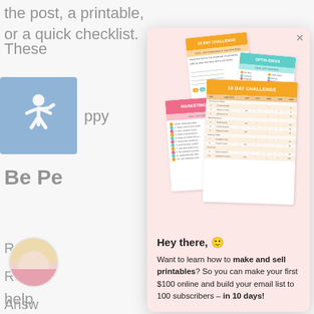the post, a printable, or a quick checklist.
These
ppy
Be Pe
Reply
Retwe
Answ
if it's j
secon
your b
[Figure (illustration): Stack of printable worksheet documents including '10 Day Challenge', 'Optin Ideas', 'Marketing Ideas', and a detailed 10 Day Challenge spreadsheet]
Hey there, 🙂
Want to learn how to make and sell printables? So you can make your first $100 online and build your email list to 100 subscribers – in 10 days!
[Figure (photo): Circular avatar photo of a woman with blonde hair]
help